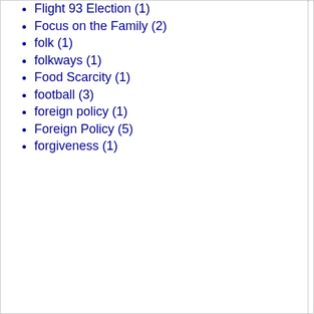Flight 93 Election (1)
Focus on the Family (2)
folk (1)
folkways (1)
Food Scarcity (1)
football (3)
foreign policy (1)
Foreign Policy (5)
forgiveness (1)